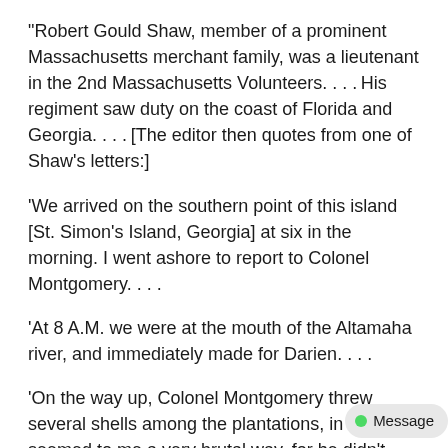"Robert Gould Shaw, member of a prominent Massachusetts merchant family, was a lieutenant in the 2nd Massachusetts Volunteers.... His regiment saw duty on the coast of Florida and Georgia.... [The editor then quotes from one of Shaw's letters:]
'We arrived on the southern point of this island [St. Simon's Island, Georgia] at six in the morning. I went ashore to report to Colonel Montgomery....
'At 8 A.M. we were at the mouth of the Altamaha river, and immediately made for Darien....
'On the way up, Colonel Montgomery threw several shells among the plantations, in what seemed to me a very brutal way, for he didn't know how many women and children there might be.
'About noon, we came in sight of Darien, a beautiful little